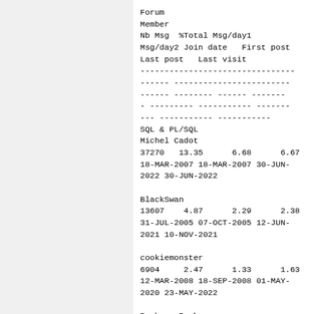| Forum | Member | Nb Msg | %Total | Msg/day1 | Msg/day2 | Join date | First post | Last post | Last visit |
| --- | --- | --- | --- | --- | --- | --- | --- | --- | --- |
| SQL & PL/SQL | Michel Cadot | 37270 | 13.35 | 6.68 | 6.67 | 18-MAR-2007 | 18-MAR-2007 | 30-JUN-2022 | 30-JUN-2022 |
| SQL & PL/SQL | BlackSwan | 13607 | 4.87 | 2.29 | 2.38 | 31-JUL-2005 | 07-OCT-2005 | 12-JUN-2021 | 10-NOV-2021 |
| SQL & PL/SQL | cookiemonster | 6904 | 2.47 | 1.33 | 1.63 | 12-MAR-2008 | 18-SEP-2008 | 01-MAY-2020 | 23-MAY-2022 |
| SQL & PL/SQL | Barbara Boehmer | 5968 | 2.14 | 0.84 | 1.01 | 15-NOV-2002 | 15-NOV-2002 | 08-JAN-2019 | 07-APR-2022 |